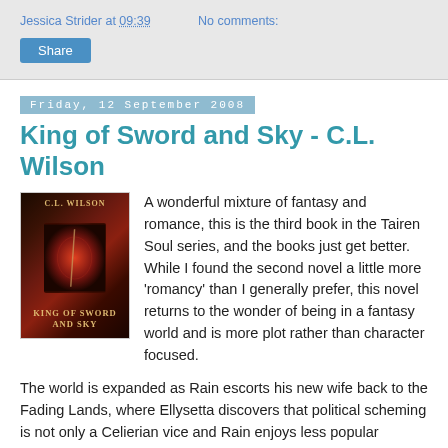Jessica Strider at 09:39   No comments:
Share
Friday, 12 September 2008
King of Sword and Sky - C.L. Wilson
[Figure (photo): Book cover of King of Sword and Sky by C.L. Wilson, dark fantasy cover with red tones]
A wonderful mixture of fantasy and romance, this is the third book in the Tairen Soul series, and the books just get better. While I found the second novel a little more 'romancy' than I generally prefer, this novel returns to the wonder of being in a fantasy world and is more plot rather than character focused.
The world is expanded as Rain escorts his new wife back to the Fading Lands, where Ellysetta discovers that political scheming is not only a Celierian vice and Rain enjoys less popular support than she was led to believe. The crisis of the dying Tairens is examined in detail as Ellysetta tries to